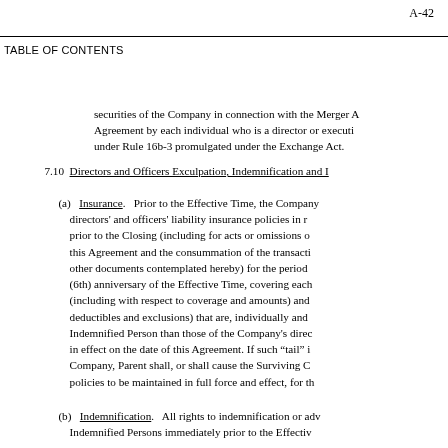A-42
TABLE OF CONTENTS
securities of the Company in connection with the Merger Agreement by each individual who is a director or executive officer under Rule 16b-3 promulgated under the Exchange Act.
7.10  Directors and Officers Exculpation, Indemnification and I
(a)  Insurance.   Prior to the Effective Time, the Company directors' and officers' liability insurance policies in r prior to the Closing (including for acts or omissions o this Agreement and the consummation of the transacti other documents contemplated hereby) for the period  (6th) anniversary of the Effective Time, covering each (including with respect to coverage and amounts) and deductibles and exclusions) that are, individually and Indemnified Person than those of the Company's direc in effect on the date of this Agreement. If such "tail" i Company, Parent shall, or shall cause the Surviving C policies to be maintained in full force and effect, for th
(b)  Indemnification.   All rights to indemnification or adv Indemnified Persons immediately prior to the Effective